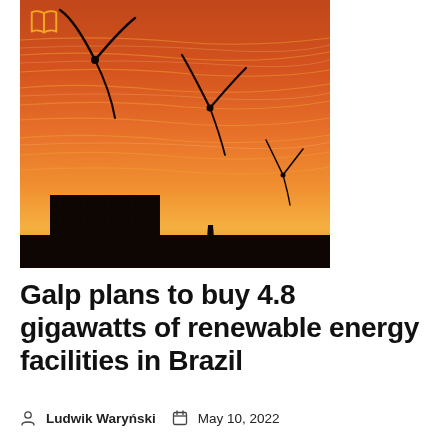[Figure (photo): Wind turbines silhouetted against a vivid orange and red sunset sky, with a dark building structure in the foreground. A book/article icon (open book in orange) appears in the top-left corner of the image.]
Galp plans to buy 4.8 gigawatts of renewable energy facilities in Brazil
Ludwik Waryński   May 10, 2022